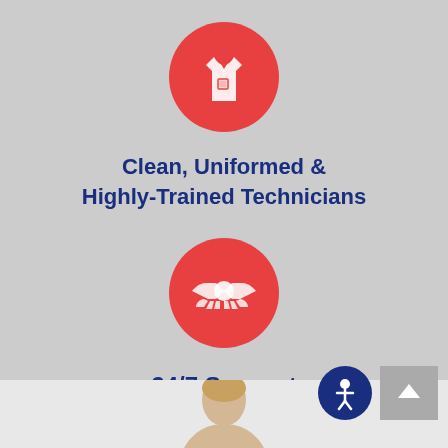[Figure (illustration): Red circle with white shirt/uniform icon representing uniformed technicians]
Clean, Uniformed & Highly-Trained Technicians
[Figure (illustration): Red circle with white handshake icon representing 24/7 support]
24/7 Support
[Figure (illustration): Bottom section showing a person's head and an accessibility icon button with scroll-to-top arrow]
[Figure (illustration): Accessibility icon button (dark blue circle with white person figure)]